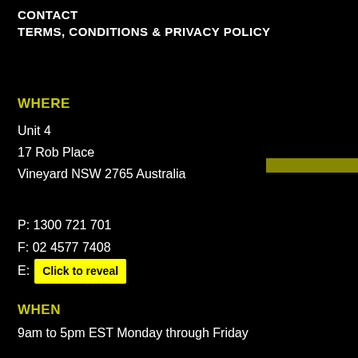CONTACT
TERMS, CONDITIONS & PRIVACY POLICY
WHERE
Unit 4
17 Rob Place
Vineyard NSW 2765 Australia
P: 1300 721 701
F: 02 4577 7408
E: Click to reveal
WHEN
9am to 5pm EST Monday through Friday